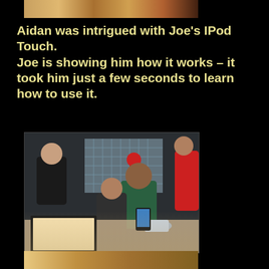[Figure (photo): Top partial photo showing colorful merchandise or signage in a diner setting]
Aidan was intrigued with Joe's IPod Touch.
Joe is showing him how it works – it took him just a few seconds to learn how to use it.
[Figure (photo): Two boys at a diner table, one leaning over looking at an iPod Touch held by the other. Restaurant/diner interior with glass block wall, menus on table, and other patrons visible in background.]
[Figure (photo): Bottom partial photo of another scene, partially visible]